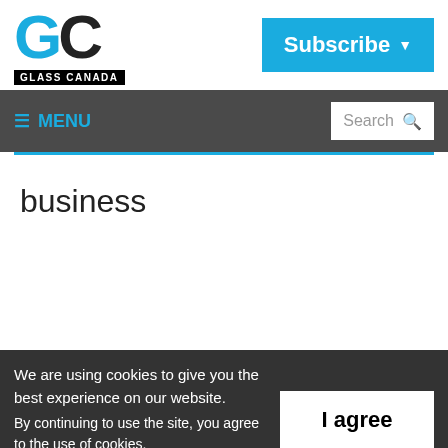[Figure (logo): Glass Canada logo with GC letters and GLASS CANADA text on black bar]
Subscribe ▼
≡ MENU   Search
business
We are using cookies to give you the best experience on our website. By continuing to use the site, you agree to the use of cookies. To find out more, read our privacy policy.
I agree